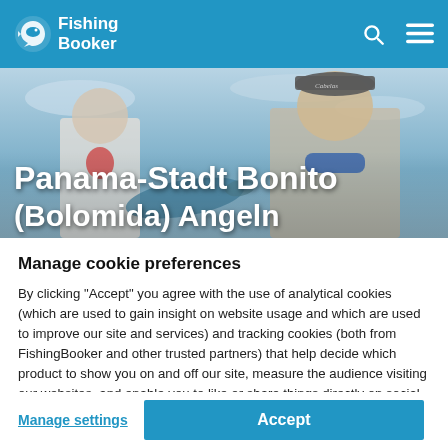Fishing Booker
[Figure (photo): Two young people holding a fish on a boat, one wearing a Cabelas cap, with ocean/sky background. Title text overlay reads: Panama-Stadt Bonito (Bolomida) Angeln]
Panama-Stadt Bonito (Bolomida) Angeln
Manage cookie preferences
By clicking "Accept" you agree with the use of analytical cookies (which are used to gain insight on website usage and which are used to improve our site and services) and tracking cookies (both from FishingBooker and other trusted partners) that help decide which product to show you on and off our site, measure the audience visiting our websites, and enable you to like or share things directly on social media. By clicking here, you can manage your nd bout the cookies we use.
Manage settings
Accept